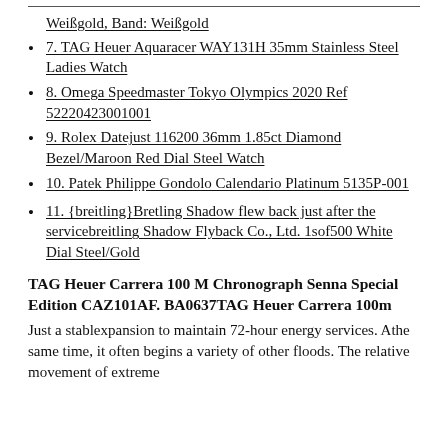Weißgold, Band: Weißgold
7. TAG Heuer Aquaracer WAY131H 35mm Stainless Steel Ladies Watch
8. Omega Speedmaster Tokyo Olympics 2020 Ref 52220423001001
9. Rolex Datejust 116200 36mm 1.85ct Diamond Bezel/Maroon Red Dial Steel Watch
10. Patek Philippe Gondolo Calendario Platinum 5135P-001
11. {breitling}Bretling Shadow flew back just after the servicebreitling Shadow Flyback Co., Ltd. 1sof500 White Dial Steel/Gold
TAG Heuer Carrera 100 M Chronograph Senna Special Edition CAZ101AF. BA0637TAG Heuer Carrera 100m
Just a stablexpansion to maintain 72-hour energy services. Athe same time, it often begins a variety of other floods. The relative movement of extreme